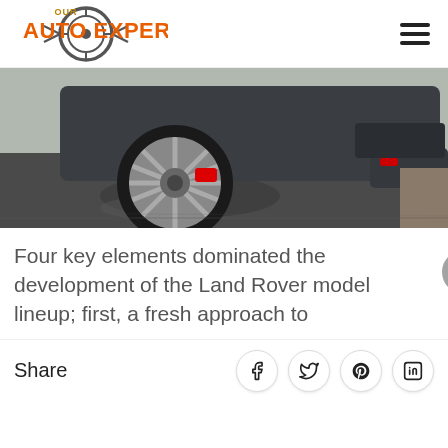[Figure (logo): Our Auto Expert logo with orange and grey text and tire/wheel graphic]
[Figure (photo): Rear quarter view of a dark grey Land Rover SUV showing alloy wheel with red brake caliper, parked on wet asphalt]
Four key elements dominated the development of the Land Rover model lineup; first, a fresh approach to
Share